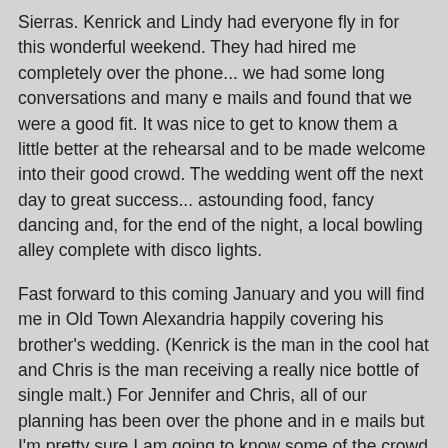Sierras. Kenrick and Lindy had everyone fly in for this wonderful weekend. They had hired me completely over the phone... we had some long conversations and many e mails and found that we were a good fit. It was nice to get to know them a little better at the rehearsal and to be made welcome into their good crowd. The wedding went off the next day to great success... astounding food, fancy dancing and, for the end of the night, a local bowling alley complete with disco lights.
Fast forward to this coming January and you will find me in Old Town Alexandria happily covering his brother's wedding. (Kenrick is the man in the cool hat and Chris is the man receiving a really nice bottle of single malt.) For Jennifer and Chris, all of our planning has been over the phone and in e mails but I'm pretty sure I am going to know some of the crowd a little better at the upcoming rehearsal dinner. I can't wait!
Destination weddings? You bet!